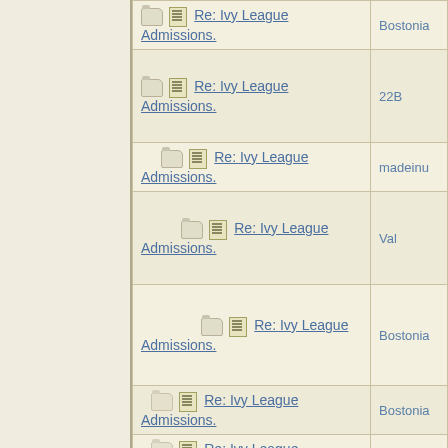| Subject | Author |
| --- | --- |
| Re: Ivy League Admissions. | Bostonia |
| Re: Ivy League Admissions. | 22B |
| Re: Ivy League Admissions. | madeinu |
| Re: Ivy League Admissions. | Val |
| Re: Ivy League Admissions. | Bostonia |
| Re: Ivy League Admissions. | Bostonia |
| Re: Ivy League Admissions. | intparent |
| Re: Ivy League Admissions. | HowlerK |
| Re: Ivy League Admissions. | HowlerK |
| Re: Ivy League Admissions. | Bostonia |